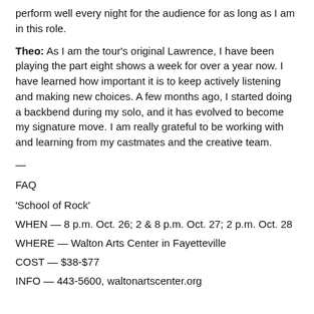before you don't look and part. Make care of my voice so that I can perform well every night for the audience for as long as I am in this role.
Theo: As I am the tour's original Lawrence, I have been playing the part eight shows a week for over a year now. I have learned how important it is to keep actively listening and making new choices. A few months ago, I started doing a backbend during my solo, and it has evolved to become my signature move. I am really grateful to be working with and learning from my castmates and the creative team.
—
FAQ
'School of Rock'
WHEN — 8 p.m. Oct. 26; 2 & 8 p.m. Oct. 27; 2 p.m. Oct. 28
WHERE — Walton Arts Center in Fayetteville
COST — $38-$77
INFO — 443-5600, waltonartscenter.org